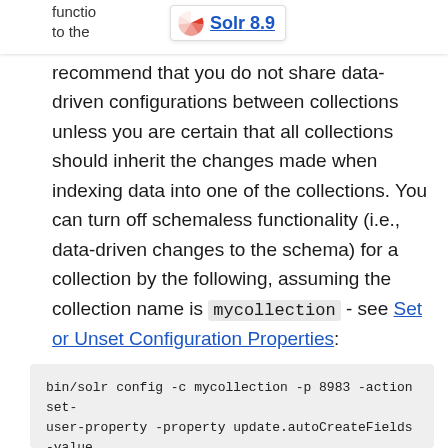functio
to the
Solr 8.9
recommend that you do not share data-driven configurations between collections unless you are certain that all collections should inherit the changes made when indexing data into one of the collections. You can turn off schemaless functionality (i.e., data-driven changes to the schema) for a collection by the following, assuming the collection name is mycollection - see Set or Unset Configuration Properties:
bin/solr config -c mycollection -p 8983 -action set-user-property -property update.autoCreateFields -value false